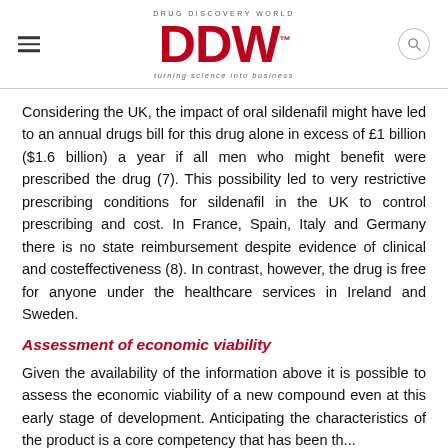DRUG DISCOVERY WORLD DDW turning science into business
Considering the UK, the impact of oral sildenafil might have led to an annual drugs bill for this drug alone in excess of £1 billion ($1.6 billion) a year if all men who might benefit were prescribed the drug (7). This possibility led to very restrictive prescribing conditions for sildenafil in the UK to control prescribing and cost. In France, Spain, Italy and Germany there is no state reimbursement despite evidence of clinical and costeffectiveness (8). In contrast, however, the drug is free for anyone under the healthcare services in Ireland and Sweden.
Assessment of economic viability
Given the availability of the information above it is possible to assess the economic viability of a new compound even at this early stage of development. Anticipating the characteristics of the product is a core competency that has been the...